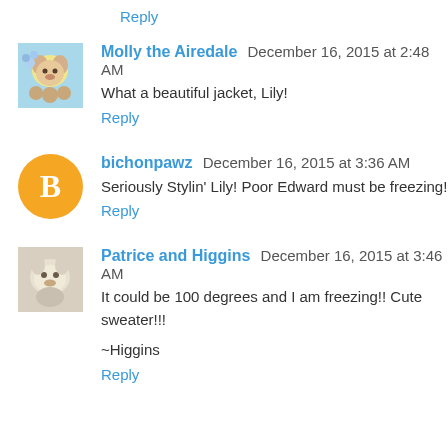Reply
Molly the Airedale  December 16, 2015 at 2:48 AM
What a beautiful jacket, Lily!
Reply
bichonpawz  December 16, 2015 at 3:36 AM
Seriously Stylin' Lily! Poor Edward must be freezing!
Reply
Patrice and Higgins  December 16, 2015 at 3:46 AM
It could be 100 degrees and I am freezing!! Cute sweater!!!
~Higgins
Reply